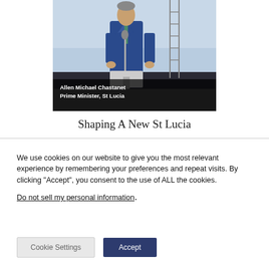[Figure (photo): Photo of Allen Michael Chastanet, Prime Minister of St Lucia, standing at a podium/microphone outdoors, wearing a blue suit, with scaffolding visible in background. Dark caption bar at bottom of photo with his name and title.]
Allen Michael Chastanet
Prime Minister, St Lucia
Shaping A New St Lucia
We use cookies on our website to give you the most relevant experience by remembering your preferences and repeat visits. By clicking “Accept”, you consent to the use of ALL the cookies.
Do not sell my personal information.